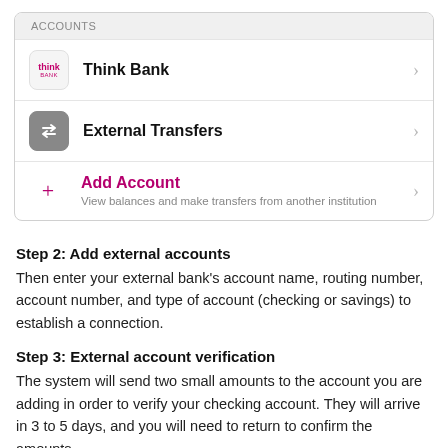ACCOUNTS
Think Bank
External Transfers
Add Account – View balances and make transfers from another institution
Step 2: Add external accounts
Then enter your external bank's account name, routing number, account number, and type of account (checking or savings) to establish a connection.
Step 3: External account verification
The system will send two small amounts to the account you are adding in order to verify your checking account. They will arrive in 3 to 5 days, and you will need to return to confirm the amounts.